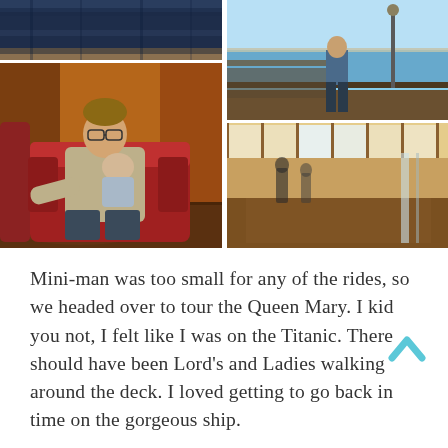[Figure (photo): Collage of four photos: top-left shows dark fabric/curtain, main left shows a man sitting in a red armchair holding a small child, top-right shows a person standing on a ship deck with ocean/city view, bottom-right shows the interior deck corridor of a large ship with people walking.]
Mini-man was too small for any of the rides, so we headed over to tour the Queen Mary. I kid you not, I felt like I was on the Titanic. There should have been Lord's and Ladies walking around the deck. I loved getting to go back in time on the gorgeous ship.